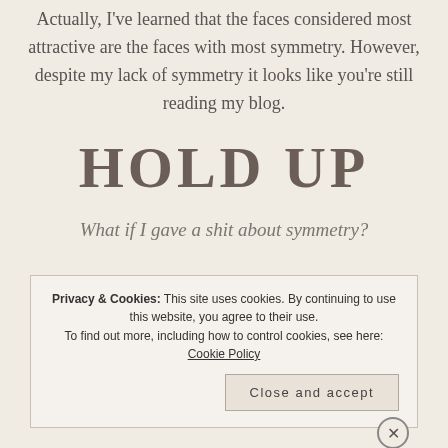Actually, I've learned that the faces considered most attractive are the faces with most symmetry. However, despite my lack of symmetry it looks like you're still reading my blog.
HOLD UP
What if I gave a shit about symmetry?
Privacy & Cookies: This site uses cookies. By continuing to use this website, you agree to their use. To find out more, including how to control cookies, see here: Cookie Policy
Close and accept